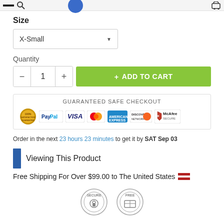Size
X-Small
Quantity
1
+ ADD TO CART
GUARANTEED SAFE CHECKOUT
[Figure (infographic): Payment badges: Satisfaction Guarantee, PayPal, VISA, MasterCard, American Express, Discover Network, McAfee Secure]
Order in the next 23 hours 23 minutes to get it by SAT Sep 03
Viewing This Product
Free Shipping For Over $99.00 to The United States
[Figure (infographic): Secure and Free shipping badge icons at bottom]